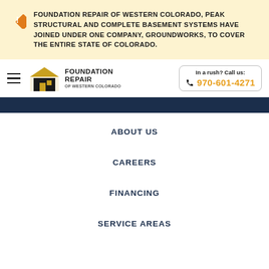FOUNDATION REPAIR OF WESTERN COLORADO, PEAK STRUCTURAL AND COMPLETE BASEMENT SYSTEMS HAVE JOINED UNDER ONE COMPANY, GROUNDWORKS, TO COVER THE ENTIRE STATE OF COLORADO.
[Figure (logo): Foundation Repair of Western Colorado logo with house icon]
In a rush? Call us: 970-601-4271
ABOUT US
CAREERS
FINANCING
SERVICE AREAS